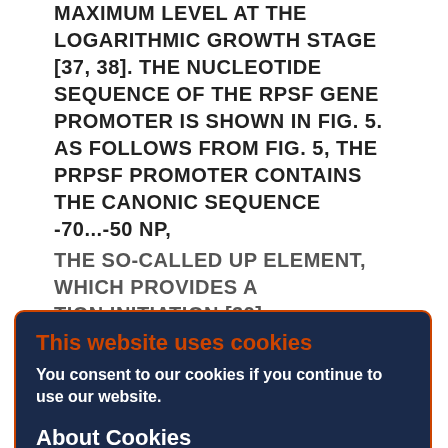MAXIMUM LEVEL AT THE LOGARITHMIC GROWTH STAGE [37, 38]. THE NUCLEOTIDE SEQUENCE OF THE RPSF GENE PROMOTER IS SHOWN IN FIG. 5. AS FOLLOWS FROM FIG. 5, THE PRPSF PROMOTER CONTAINS THE CANONIC SEQUENCE -70...-50 NP, THE SO-CALLED UP ELEMENT, WHICH PROVIDES A ... TION INITIATION [39]. ...WITH THE PURPOSE OF CLONING THE PRPSF PROMOTER INTO THE PDG26B PLASMID, THE DNA FRAGMENT CONTAINING THE PROMOTER REGION FOR THE RPSF GENE WAS AMPLIFIED BY PCR FROM THE B. SUBTILIS 168 CHROMOSOME USING R1 AND R2 PRIMERS (TABLE 2). THE RESULTING PCR FRAGMENT WAS DIGESTED WITH THE RESTRICTION ENDONUCLEASES ECORL AND BAMHI AND CLONED INTO THE PDG268 PLASMID DIGESTED WITH THE SAME RESTRICTASES (FIG. 4). THE E. COLI TG1 STRAIN WAS TRANSFORMED BY A
[Figure (screenshot): Cookie consent popup overlay with dark navy blue background and orange border. Title 'This website uses cookies' in orange, consent text in white bold, 'About Cookies' subheading in white, and an OK button in blue.]